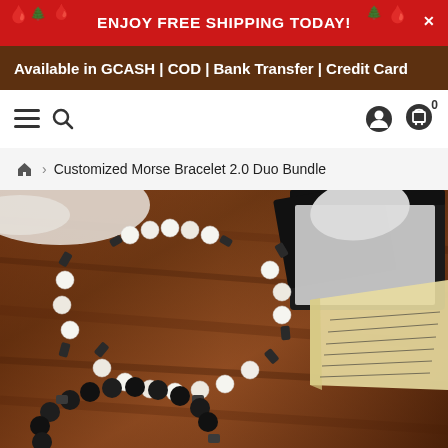ENJOY FREE SHIPPING TODAY!
Available in GCASH | COD | Bank Transfer | Credit Card
Customized Morse Bracelet 2.0 Duo Bundle
[Figure (photo): Two beaded bracelets (one with white howlite and dark hematite beads, one with black lava stone and hematite beads) on a dark wooden surface, with a black gift box and torn book pages in the background.]